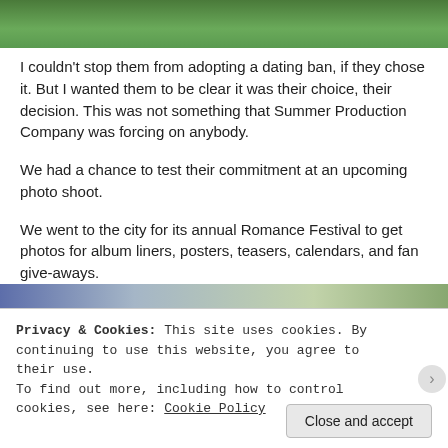[Figure (photo): Top portion of an outdoor photo showing green foliage and a person partially visible]
I couldn't stop them from adopting a dating ban, if they chose it. But I wanted them to be clear it was their choice, their decision. This was not something that Summer Production Company was forcing on anybody.
We had a chance to test their commitment at an upcoming photo shoot.
We went to the city for its annual Romance Festival to get photos for album liners, posters, teasers, calendars, and fan give-aways.
[Figure (photo): Bottom portion showing a city scene with buildings and trees, partially visible]
Privacy & Cookies: This site uses cookies. By continuing to use this website, you agree to their use.
To find out more, including how to control cookies, see here: Cookie Policy
Close and accept